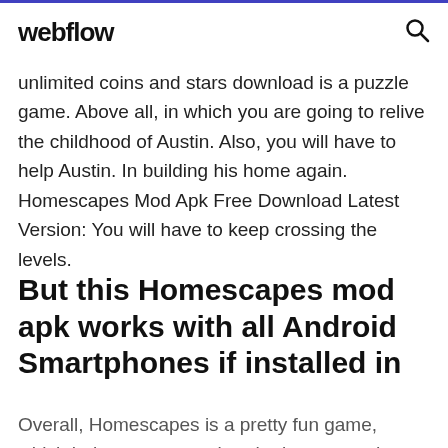webflow
unlimited coins and stars download is a puzzle game. Above all, in which you are going to relive the childhood of Austin. Also, you will have to help Austin. In building his home again. Homescapes Mod Apk Free Download Latest Version: You will have to keep crossing the levels.
But this Homescapes mod apk works with all Android Smartphones if installed in
Overall, Homescapes is a pretty fun game, which helps you remember the intense and